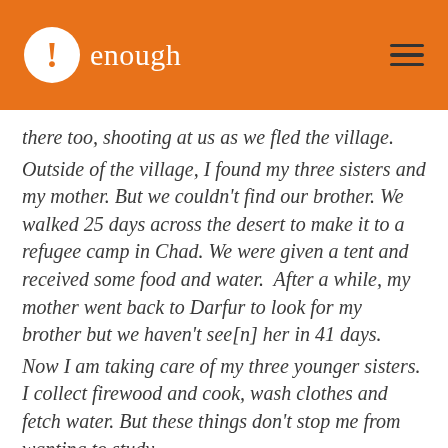enough
there too, shooting at us as we fled the village.
Outside of the village, I found my three sisters and my mother. But we couldn't find our brother. We walked 25 days across the desert to make it to a refugee camp in Chad. We were given a tent and received some food and water.  After a while, my mother went back to Darfur to look for my brother but we haven't see[n] her in 41 days.
Now I am taking care of my three younger sisters. I collect firewood and cook, wash clothes and fetch water. But these things don't stop me from wanting to study